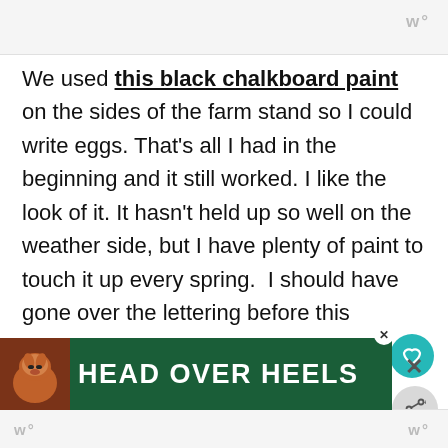w°
We used this black chalkboard paint on the sides of the farm stand so I could write eggs. That's all I had in the beginning and it still worked. I like the look of it. It hasn't held up so well on the weather side, but I have plenty of paint to touch it up every spring.  I should have gone over the lettering before this picture, but you know how it is.
We did have a large dry erase board that I thought was okay. When I put up the sign b...c×
[Figure (advertisement): HEAD OVER HEELS advertisement banner with dog image on green background]
w°